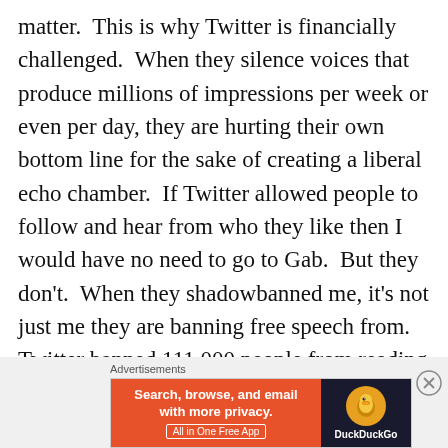matter.  This is why Twitter is financially challenged.  When they silence voices that produce millions of impressions per week or even per day, they are hurting their own bottom line for the sake of creating a liberal echo chamber.  If Twitter allowed people to follow and hear from who they like then I would have no need to go to Gab.  But they don't.  When they shadowbanned me, it's not just me they are banning free speech from. Twitter banned 111,000 people from reading and responding to
[Figure (other): DuckDuckGo advertisement banner: orange left panel with text 'Search, browse, and email with more privacy. All in One Free App' and dark right panel with DuckDuckGo duck logo]